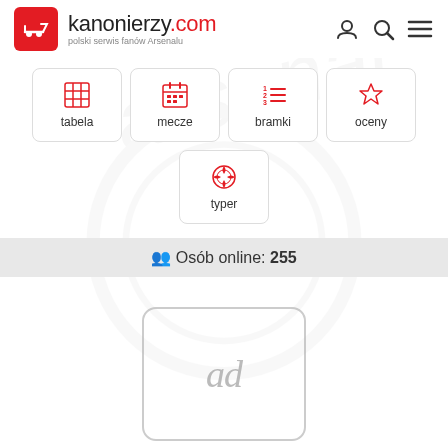[Figure (logo): Kanonierzy.com logo - red icon with cannon, site name and tagline 'polski serwis fanów Arsenalu']
[Figure (infographic): Navigation menu with 5 buttons: tabela (table icon), mecze (calendar icon), bramki (list icon), oceny (star icon), typer (football icon)]
👥 Osób online: 255
[Figure (other): Advertisement placeholder box with 'ad' text]